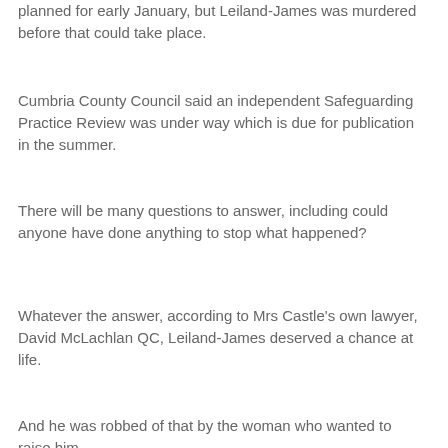planned for early January, but Leiland-James was murdered before that could take place.
Cumbria County Council said an independent Safeguarding Practice Review was under way which is due for publication in the summer.
There will be many questions to answer, including could anyone have done anything to stop what happened?
Whatever the answer, according to Mrs Castle's own lawyer, David McLachlan QC, Leiland-James deserved a chance at life.
And he was robbed of that by the woman who wanted to raise him.